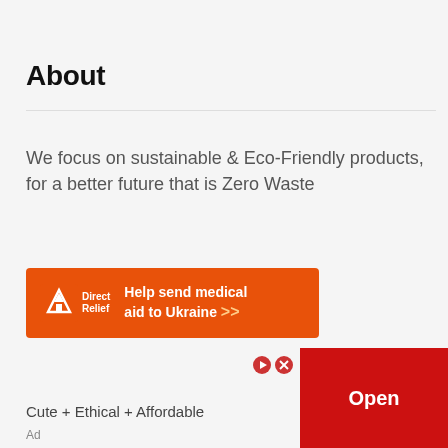About
We focus on sustainable & Eco-Friendly products, for a better future that is Zero Waste
[Figure (other): Orange banner advertisement for Direct Relief: 'Help send medical aid to Ukraine >>']
[Figure (other): Bottom advertisement bar reading 'Cute + Ethical + Affordable' with red 'Open' button and Ad label]